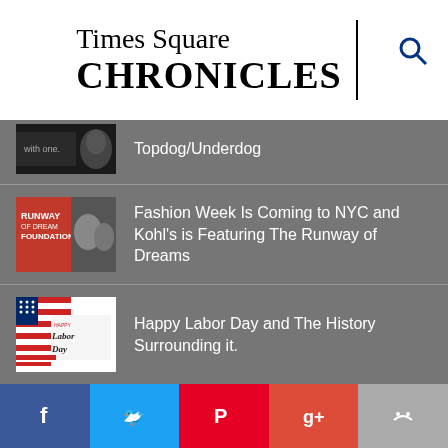Times Square CHRONICLES
Topdog/Underdog
Fashion Week Is Coming to NYC and Kohl's is Featuring The Runway of Dreams
Happy Labor Day and The History Surrounding it.
CATEGORIES
NEW
TIMES SQUARE CHRONICLES
BROADWAY
OFF BROADWAY
ELIZABETH TAYLOR
STEPHEN SOROKOFF
ROSS
GENEVIEVE RAFTER KEDDY
TIMES SQUARE